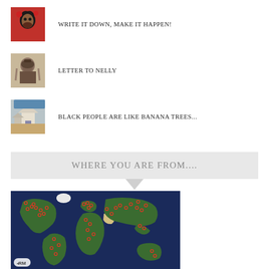WRITE IT DOWN, MAKE IT HAPPEN!
LETTER TO NELLY
BLACK PEOPLE ARE LIKE BANANA TREES...
WHERE YOU ARE FROM....
[Figure (map): World map with red dot markers indicating visitor locations across continents, dark blue ocean background, RM watermark in bottom left]